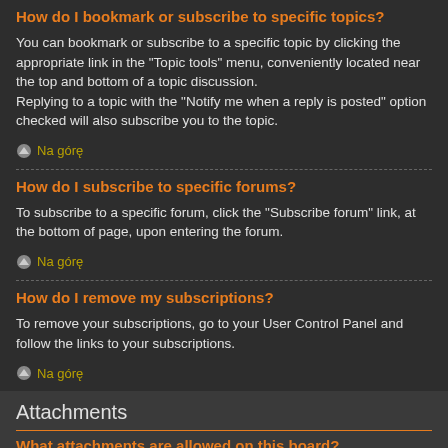How do I bookmark or subscribe to specific topics?
You can bookmark or subscribe to a specific topic by clicking the appropriate link in the "Topic tools" menu, conveniently located near the top and bottom of a topic discussion.
Replying to a topic with the "Notify me when a reply is posted" option checked will also subscribe you to the topic.
Na górę
How do I subscribe to specific forums?
To subscribe to a specific forum, click the "Subscribe forum" link, at the bottom of page, upon entering the forum.
Na górę
How do I remove my subscriptions?
To remove your subscriptions, go to your User Control Panel and follow the links to your subscriptions.
Na górę
Attachments
What attachments are allowed on this board?
Each board administrator can allow or disallow certain attachment types. If you are unsure what is allowed to be uploaded, contact the board administrator for